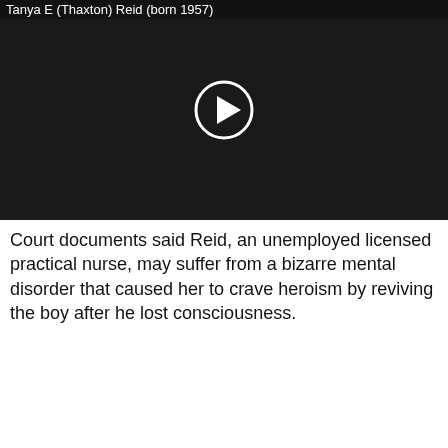[Figure (screenshot): Video thumbnail showing dark image with a play button circle in the center. Title text at top reads 'Tanya E (Thaxton) Reid (born 1957)']
Court documents said Reid, an unemployed licensed practical nurse, may suffer from a bizarre mental disorder that caused her to crave heroism by reviving the boy after he lost consciousness.
[Figure (screenshot): Advertisement banner with blue background. Left side reads 'Tanya Reid Nude' with small avatar image. Right side reads 'GET LAID TONIGHT!!!' in bold white text. Below are three photo thumbnails side by side.]